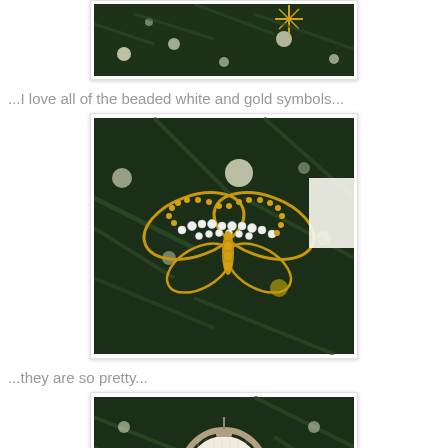[Figure (photo): Partial photo of a Christmas tree with lights and a gold beaded star ornament visible at top]
...I love all of the beaded white and gold symbols...
[Figure (photo): Close-up photo of a beaded butterfly ornament made of white pearls and gold beads hanging on a Christmas tree with bokeh lights]
...they are so pretty...
[Figure (photo): Photo of a circular embroidery hoop ornament with a gold embroidered bee or insect design on white fabric, hanging on a Christmas tree]